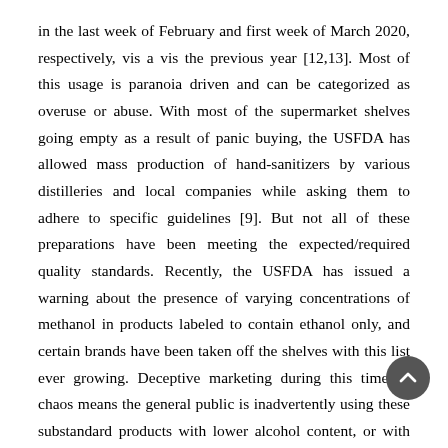in the last week of February and first week of March 2020, respectively, vis a vis the previous year [12,13]. Most of this usage is paranoia driven and can be categorized as overuse or abuse. With most of the supermarket shelves going empty as a result of panic buying, the USFDA has allowed mass production of hand-sanitizers by various distilleries and local companies while asking them to adhere to specific guidelines [9]. But not all of these preparations have been meeting the expected/required quality standards. Recently, the USFDA has issued a warning about the presence of varying concentrations of methanol in products labeled to contain ethanol only, and certain brands have been taken off the shelves with this list ever growing. Deceptive marketing during this time of chaos means the general public is inadvertently using these substandard products with lower alcohol content, or with non-alcoholic formulations which have a narrow spectrum and are ineffective against SARS-CoV-2 [12]. The side-effects resulting from using these substandard products